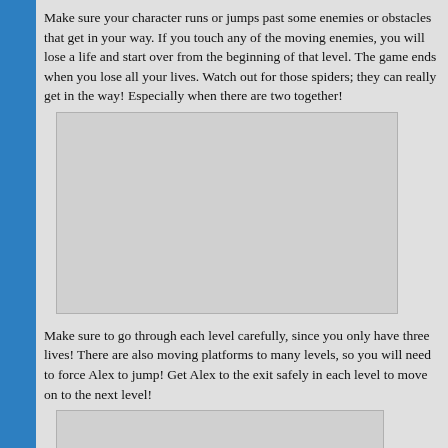Make sure your character runs or jumps past some enemies or obstacles that get in your way. If you touch any of the moving enemies, you will lose a life and start over from the beginning of that level. The game ends when you lose all your lives. Watch out for those spiders; they can really get in the way! Especially when there are two together!
[Figure (screenshot): A screenshot placeholder (light gray rectangle with border) representing a game screenshot]
Make sure to go through each level carefully, since you only have three lives! There are also moving platforms to many levels, so you will need to force Alex to jump! Get Alex to the exit safely in each level to move on to the next level!
[Figure (screenshot): A second screenshot placeholder (light gray rectangle with border) representing a game screenshot]